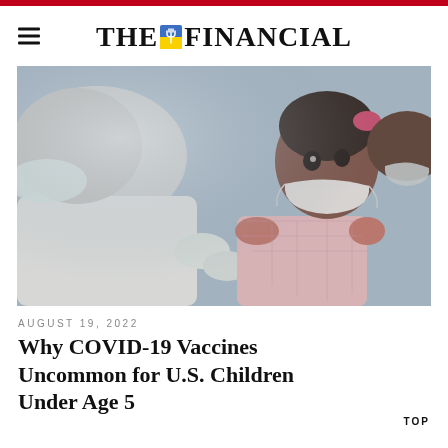THE FINANCIAL
[Figure (photo): A healthcare worker in white coat and gloves administering a vaccine or examination to a young Black child wearing a pink outfit and a white face mask. An adult, also masked, holds the child from behind. The setting appears to be a medical clinic. Close-up shot with blurred background in soft blue-grey tones.]
AUGUST 19, 2022
Why COVID-19 Vaccines Uncommon for U.S. Children Under Age 5
TOP